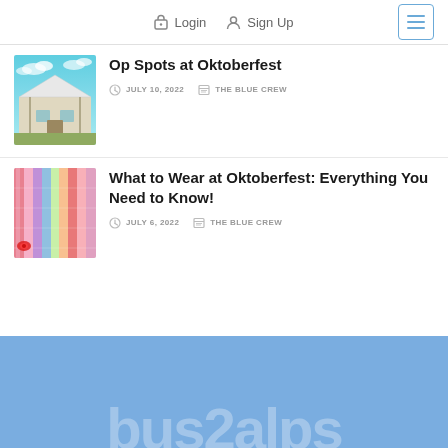Login  Sign Up
Op Spots at Oktoberfest
JULY 10, 2022   THE BLUE CREW
What to Wear at Oktoberfest: Everything You Need to Know!
JULY 6, 2022   THE BLUE CREW
bus2alps